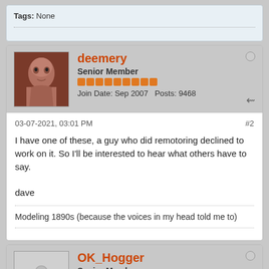Tags: None
deemery
Senior Member
Join Date: Sep 2007   Posts: 9468
03-07-2021, 03:01 PM
#2
I have one of these, a guy who did remotoring declined to work on it. So I'll be interested to hear what others have to say.
dave
Modeling 1890s (because the voices in my head told me to)
OK_Hogger
Senior Member
Join Date: May 2016   Posts: 1313